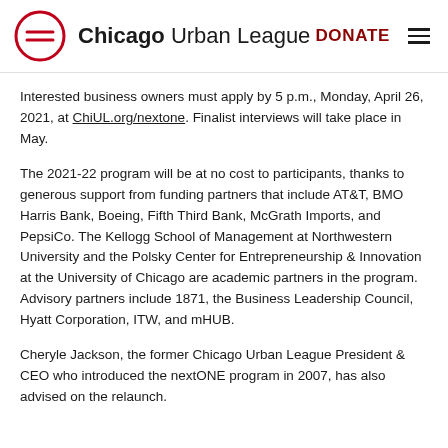Chicago Urban League | DONATE
Interested business owners must apply by 5 p.m., Monday, April 26, 2021, at ChiUL.org/nextone. Finalist interviews will take place in May.
The 2021-22 program will be at no cost to participants, thanks to generous support from funding partners that include AT&T, BMO Harris Bank, Boeing, Fifth Third Bank, McGrath Imports, and PepsiCo. The Kellogg School of Management at Northwestern University and the Polsky Center for Entrepreneurship & Innovation at the University of Chicago are academic partners in the program. Advisory partners include 1871, the Business Leadership Council, Hyatt Corporation, ITW, and mHUB.
Cheryle Jackson, the former Chicago Urban League President & CEO who introduced the nextONE program in 2007, has also advised on the relaunch.